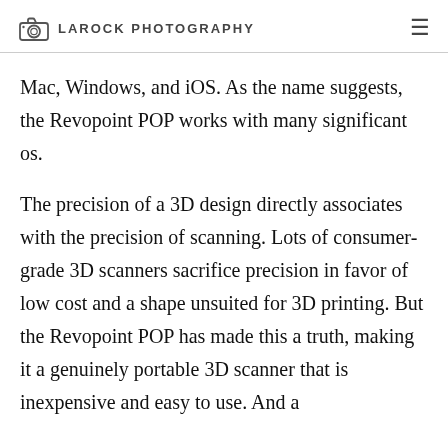LAROCK PHOTOGRAPHY
Mac, Windows, and iOS. As the name suggests, the Revopoint POP works with many significant os.
The precision of a 3D design directly associates with the precision of scanning. Lots of consumer-grade 3D scanners sacrifice precision in favor of low cost and a shape unsuited for 3D printing. But the Revopoint POP has made this a truth, making it a genuinely portable 3D scanner that is inexpensive and easy to use. And a